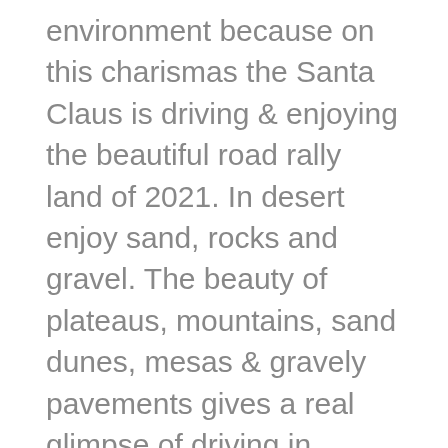environment because on this charismas the Santa Claus is driving & enjoying the beautiful road rally land of 2021. In desert enjoy sand, rocks and gravel. The beauty of plateaus, mountains, sand dunes, mesas & gravely pavements gives a real glimpse of driving in deserts enjoy long track of desert & be the champion of art of driving. In meadow mod enjoy the beautiful greenery on high mountains drive heavy long truck & complete each task to get the new mod. In race mod drive in heavy traffic beat your opponents & cross all check points before reaching the opponents. The beautiful mini hurdles try to collapse with you but avoid to smash. Drive smoothly in fun car driving sim: road rally 2021 & be the champion of this